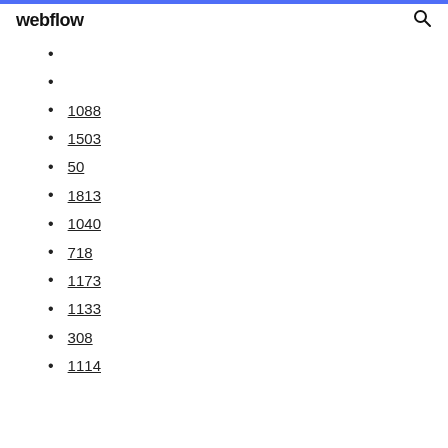webflow
1088
1503
50
1813
1040
718
1173
1133
308
1114